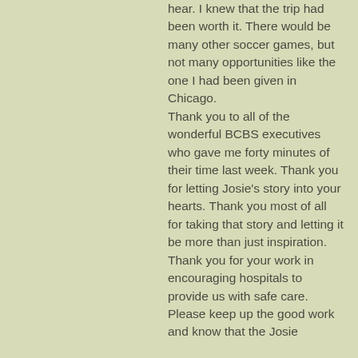hear. I knew that the trip had been worth it. There would be many other soccer games, but not many opportunities like the one I had been given in Chicago. Thank you to all of the wonderful BCBS executives who gave me forty minutes of their time last week. Thank you for letting Josie's story into your hearts. Thank you most of all for taking that story and letting it be more than just inspiration. Thank you for your work in encouraging hospitals to provide us with safe care. Please keep up the good work and know that the Josie